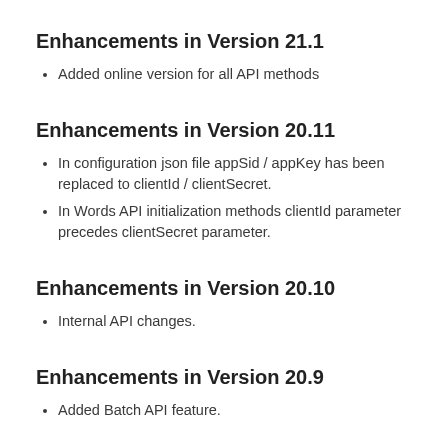Enhancements in Version 21.1
Added online version for all API methods
Enhancements in Version 20.11
In configuration json file appSid / appKey has been replaced to clientId / clientSecret.
In Words API initialization methods clientId parameter precedes clientSecret parameter.
Enhancements in Version 20.10
Internal API changes.
Enhancements in Version 20.9
Added Batch API feature.